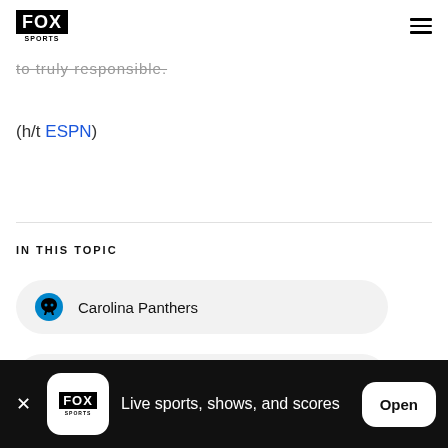FOX SPORTS
to truly responsible.
(h/t ESPN)
IN THIS TOPIC
Carolina Panthers
National Football League
Live sports, shows, and scores  Open